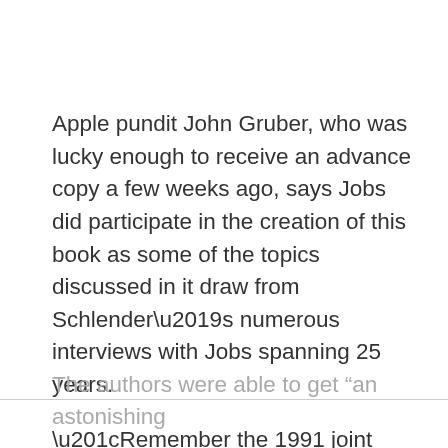Apple pundit John Gruber, who was lucky enough to receive an advance copy a few weeks ago, says Jobs did participate in the creation of this book as some of the topics discussed in it draw from Schlender’s numerous interviews with Jobs spanning 25 years.
“Remember the 1991 joint interview with Jobs and Bill Gates? That was Schlender,” said Gruber. “As the book makes clear, Jobs and Schlender had a very personal relationship.”
The authors were able to get “an astonishing